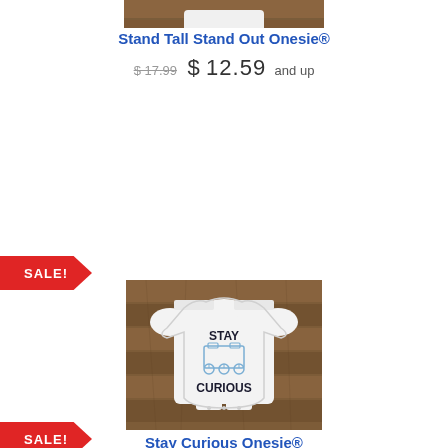[Figure (photo): White baby onesie on wooden background, partially cropped at top showing bottom portion]
Stand Tall Stand Out Onesie®
$17.99 $12.59 and up
[Figure (photo): White baby onesie on wooden background with 'STAY CURIOUS' text and rover graphic printed on it]
Stay Curious Onesie®
$17.99 $12.59 and up
SALE!
SALE!